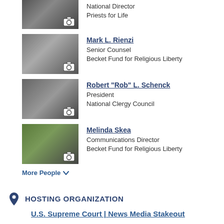[Figure (photo): Photo of person (National Director, Priests for Life) with camera icon overlay, partially cropped at top]
National Director
Priests for Life
[Figure (photo): Photo of Mark L. Rienzi with camera icon overlay]
Mark L. Rienzi
Senior Counsel
Becket Fund for Religious Liberty
[Figure (photo): Photo of Robert 'Rob' L. Schenck with camera icon overlay]
Robert "Rob" L. Schenck
President
National Clergy Council
[Figure (photo): Photo of Melinda Skea with camera icon overlay]
Melinda Skea
Communications Director
Becket Fund for Religious Liberty
More People
HOSTING ORGANIZATION
U.S. Supreme Court | News Media Stakeout